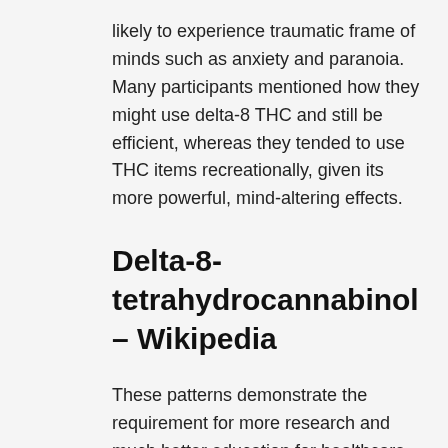likely to experience traumatic frame of minds such as anxiety and paranoia. Many participants mentioned how they might use delta-8 THC and still be efficient, whereas they tended to use THC items recreationally, given its more powerful, mind-altering effects.
Delta-8-tetrahydrocannabinol – Wikipedia
These patterns demonstrate the requirement for more research and much better education for healthcare companies on cannabis